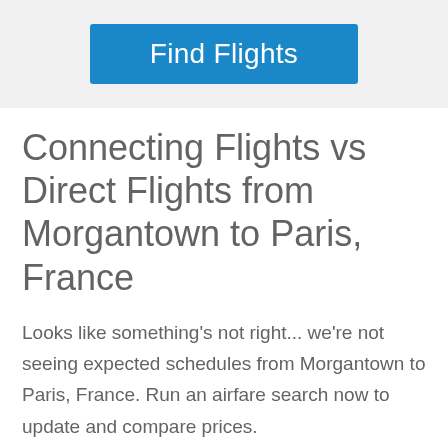[Figure (other): Blue 'Find Flights' button at top of page]
Connecting Flights vs Direct Flights from Morgantown to Paris, France
Looks like something's not right... we're not seeing expected schedules from Morgantown to Paris, France. Run an airfare search now to update and compare prices.
[Figure (other): Blue 'Find Flights' button at bottom of page]